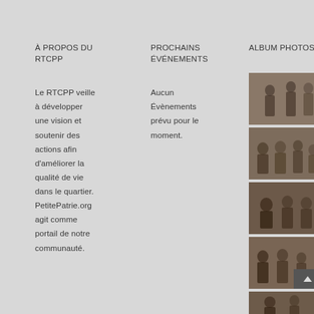À PROPOS DU RTCPP
PROCHAINS ÉVÉNEMENTS
ALBUM PHOTOS
Le RTCPP veille à développer une vision et soutenir des actions afin d'améliorer la qualité de vie dans le quartier. PetitePatrie.org agit comme portail de notre communauté.
Aucun Évènements prévu pour le moment.
[Figure (photo): People standing in a room, indoor gathering]
[Figure (photo): People in a meeting or event, indoor scene]
[Figure (photo): People seated or gathered in a room]
[Figure (photo): People at a community event with navigation arrow overlay]
[Figure (photo): Partial photo of community gathering at bottom]